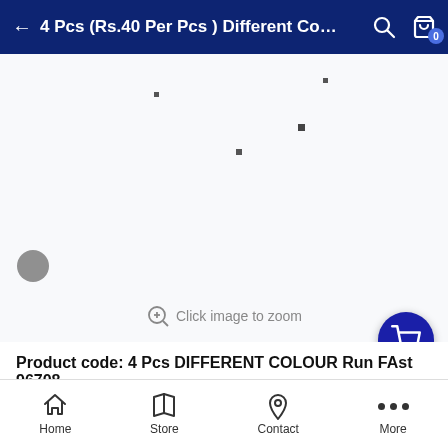← 4 Pcs (Rs.40 Per Pcs ) Different Co…
[Figure (screenshot): Product image area with scattered dots/particles on a light background, with a click-to-zoom hint]
Product code: 4 Pcs DIFFERENT COLOUR Run FAst 96708
Out stock
Shipping Info   Return Policy   For More
Home   Store   Contact   More